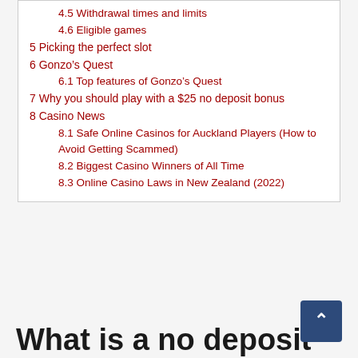4.5 Withdrawal times and limits
4.6 Eligible games
5 Picking the perfect slot
6 Gonzo's Quest
6.1 Top features of Gonzo's Quest
7 Why you should play with a $25 no deposit bonus
8 Casino News
8.1 Safe Online Casinos for Auckland Players (How to Avoid Getting Scammed)
8.2 Biggest Casino Winners of All Time
8.3 Online Casino Laws in New Zealand (2022)
What is a no deposit bonus?